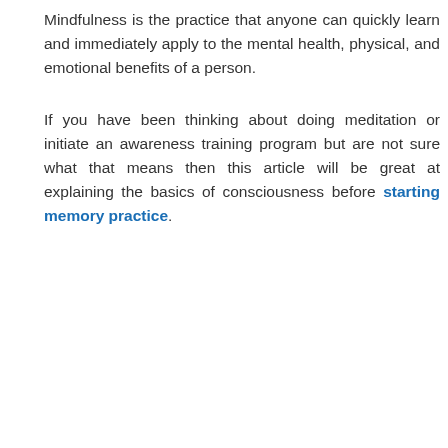Mindfulness is the practice that anyone can quickly learn and immediately apply to the mental health, physical, and emotional benefits of a person.
If you have been thinking about doing meditation or initiate an awareness training program but are not sure what that means then this article will be great at explaining the basics of consciousness before starting memory practice.
[Figure (photo): Light blue background with social media share buttons (Facebook, Google+, Twitter, Add) on the left side, and a person beginning to appear at the bottom center of the image.]